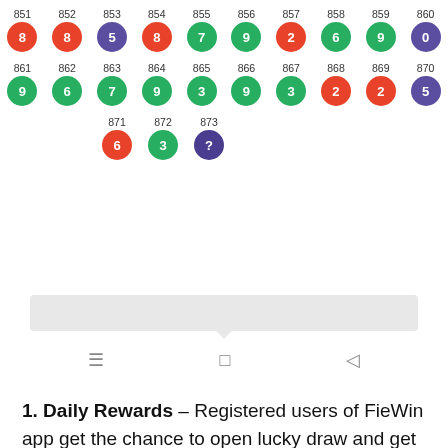[Figure (infographic): Numbered lottery balls in three rows. Row 1: positions 851-860 with balls 8(red),8(red),5(purple),8(red),7(green),9(green),2(red),6(green),9(green),0(purple). Row 2: positions 861-870 with balls 9(green),6(green),7(green),9(green),3(green),9(green),3(green),2(red),2(red),5(purple). Row 3: positions 871-873 with balls 6(red),3(green),?(dark-purple).]
[Figure (screenshot): Android navigation bar with hamburger menu, square and back arrow icons]
1. Daily Rewards – Registered users of FieWin app get the chance to open lucky draw and get prizes daily. On every 7th day, users get the golden chance to open the Treasure Box which can give you money up to 1000 Rupees.
To open get the reward, click on Check In button on the home screen. And then Click on Check in button. Money you get in this draw is deposited in